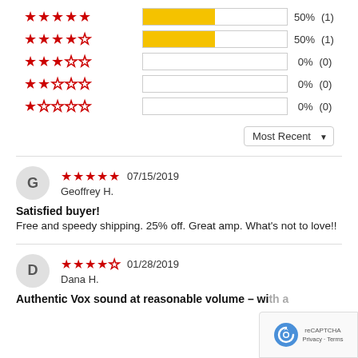[Figure (bar-chart): Star rating distribution]
Most Recent ▼
★★★★★ 07/15/2019
Geoffrey H.
Satisfied buyer!
Free and speedy shipping. 25% off. Great amp. What's not to love!!
★★★★☆ 01/28/2019
Dana H.
Authentic Vox sound at reasonable volume – with a